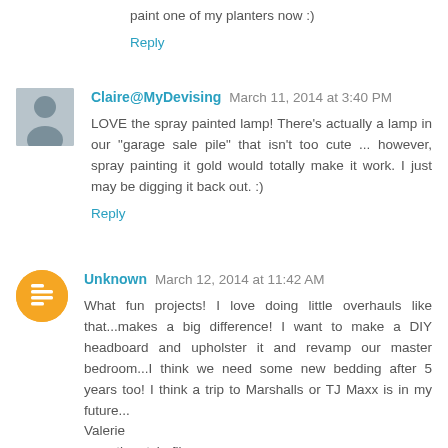paint one of my planters now :)
Reply
Claire@MyDevising  March 11, 2014 at 3:40 PM
LOVE the spray painted lamp! There's actually a lamp in our "garage sale pile" that isn't too cute ... however, spray painting it gold would totally make it work. I just may be digging it back out. :)
Reply
Unknown  March 12, 2014 at 11:42 AM
What fun projects! I love doing little overhauls like that...makes a big difference! I want to make a DIY headboard and upholster it and revamp our master bedroom...I think we need some new bedding after 5 years too! I think a trip to Marshalls or TJ Maxx is in my future... Valerie
www.the-style-files.com